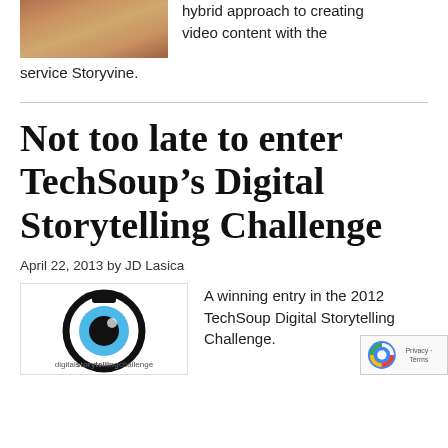[Figure (photo): Partial photo of a person, cropped at top of page]
hybrid approach to creating video content with the service Storyvine.
Not too late to enter TechSoup’s Digital Storytelling Challenge
April 22, 2013 by JD Lasica
[Figure (logo): Digital Storytelling Challenge logo with camera icon and text 'digitalstorytellingchallenge']
A winning entry in the 2012 TechSoup Digital Storytelling Challenge.